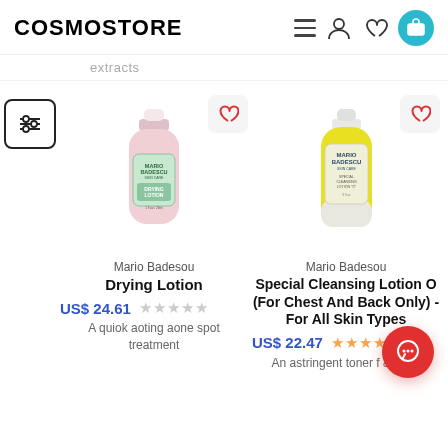COSMOSTORE
extracts
[Figure (photo): Mario Badescu Drying Lotion bottle - pink liquid skincare product]
Mario Badesou
Drying Lotion
US$ 24.61
A quiok aoting aone spot treatment
[Figure (photo): Mario Badescu Special Cleansing Lotion O bottle - yellow liquid skincare product]
Mario Badesou
Special Cleansing Lotion O (For Chest And Back Only) - For All Skin Types
US$ 22.47
An astringent toner f & baok